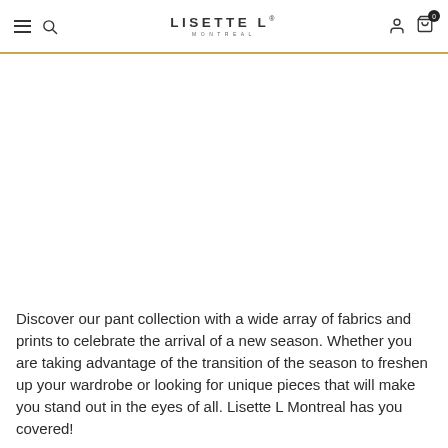LISETTE L MONTREAL
Discover our pant collection with a wide array of fabrics and prints to celebrate the arrival of a new season. Whether you are taking advantage of the transition of the season to freshen up your wardrobe or looking for unique pieces that will make you stand out in the eyes of all. Lisette L Montreal has you covered!